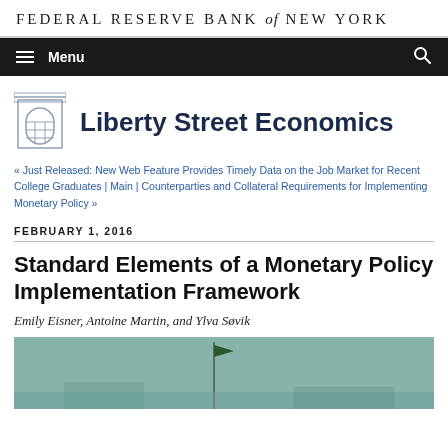FEDERAL RESERVE BANK of NEW YORK
Menu
Liberty Street Economics
« Just Released: New Web Feature Provides Timely Data on the Job Market for Recent College Graduates | Main | Counterparties and Collateral Requirements for Implementing Monetary Policy »
FEBRUARY 1, 2016
Standard Elements of a Monetary Policy Implementation Framework
Emily Eisner, Antoine Martin, and Ylva Søvik
[Figure (photo): A flag flying near what appears to be a building or structure against a pale blue-green sky, likely the Federal Reserve Bank of New York building exterior.]